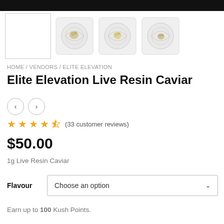[Figure (photo): Product image gallery showing a placeholder thumbnail box and three square container images of Live Resin Caviar cannabis concentrate product]
HOME / VENDORS / ELITE ELEVATION
Elite Elevation Live Resin Caviar
(33 customer reviews) — 4.5 star rating
$50.00
1g Live Resin Caviar
Flavour — Choose an option
Earn up to 100 Kush Points.